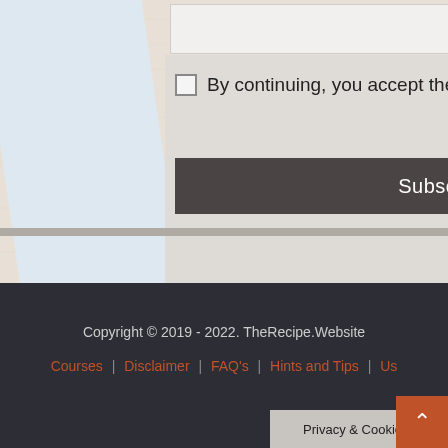[Figure (screenshot): Website footer area with wood texture background, subscription form elements (checkbox with privacy policy text, Subscribe button), and dark footer with copyright notice, navigation links, and Privacy & Cookies Policy bar.]
By continuing, you accept the privacy policy
Subscribe
Copyright © 2019 - 2022. TheRecipe.Website
Courses | Disclaimer | FAQ's | Hints and Tips | Us
Privacy & Cookies Policy